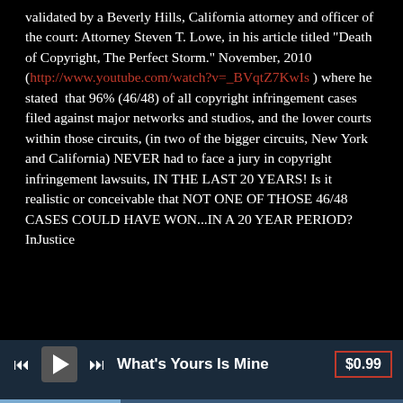validated by a Beverly Hills, California attorney and officer of the court: Attorney Steven T. Lowe, in his article titled "Death of Copyright, The Perfect Storm." November, 2010 (http://www.youtube.com/watch?v=_BVqtZ7KwIs ) where he stated that 96% (46/48) of all copyright infringement cases filed against major networks and studios, and the lower courts within those circuits, (in two of the bigger circuits, New York and California) NEVER had to face a jury in copyright infringement lawsuits, IN THE LAST 20 YEARS! Is it realistic or conceivable that NOT ONE OF THOSE 46/48 CASES COULD HAVE WON...IN A 20 YEAR PERIOD? InJustice
What's Yours Is Mine  $0.99